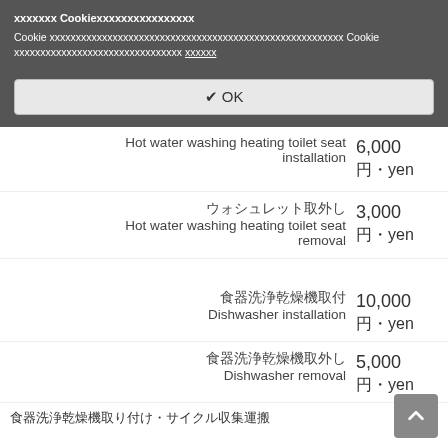xxxxxxx Cookiexxxxxxxxxxxxxxxx
Cookie xxxxxxxxxxxxxxxxxxxxxxxxxxxxxxxxxxxxxxxxxxxxxxxxxxxxxxxx Cookie xxxxxxxxxxxxxxxxxxxxxxxxxxxxxxxx xxxxxx
✔ OK
Hot water washing heating toilet seat installation
6,000
円・yen
ウォシュレット取外し
Hot water washing heating toilet seat removal
3,000
円・yen
食器洗浄乾燥機取付
Dishwasher installation
10,000
円・yen
食器洗浄乾燥機取外し
Dishwasher removal
5,000
円・yen
食器洗浄乾燥機取り付け・サイクル収集運搬